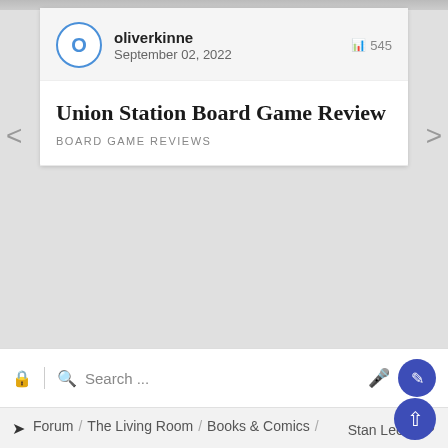oliverkinne · September 02, 2022 · 545
Union Station Board Game Review
BOARD GAME REVIEWS
Search ...
Forum / The Living Room / Books & Comics / Stan Lee, RIP